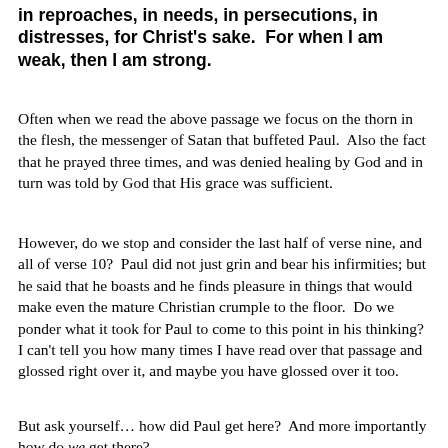in reproaches, in needs, in persecutions, in distresses, for Christ's sake.  For when I am weak, then I am strong.
Often when we read the above passage we focus on the thorn in the flesh, the messenger of Satan that buffeted Paul.  Also the fact that he prayed three times, and was denied healing by God and in turn was told by God that His grace was sufficient.
However, do we stop and consider the last half of verse nine, and all of verse 10?  Paul did not just grin and bear his infirmities; but he said that he boasts and he finds pleasure in things that would make even the mature Christian crumple to the floor.  Do we ponder what it took for Paul to come to this point in his thinking?  I can't tell you how many times I have read over that passage and glossed right over it, and maybe you have glossed over it too.
But ask yourself… how did Paul get here?  And more importantly how do we get there?